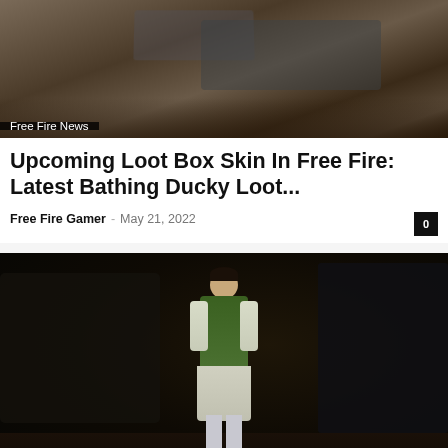[Figure (photo): Screenshot from Free Fire game showing a battle scene with dark background, vehicles and characters visible]
Free Fire News
Upcoming Loot Box Skin In Free Fire: Latest Bathing Ducky Loot...
Free Fire Gamer · May 21, 2022  0
[Figure (photo): Free Fire Max character wearing green kurta/vest outfit and light-colored dhoti pants with orange shoes, standing in dark game environment]
Free Fire News
New Upcoming Bundle In Free Fire Max: Smart In Green Bundle